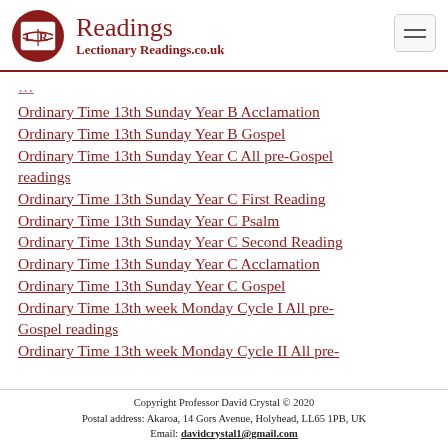Readings — LectionaryReadings.co.uk
Ordinary Time 13th Sunday Year B Acclamation
Ordinary Time 13th Sunday Year B Gospel
Ordinary Time 13th Sunday Year C All pre-Gospel readings
Ordinary Time 13th Sunday Year C First Reading
Ordinary Time 13th Sunday Year C Psalm
Ordinary Time 13th Sunday Year C Second Reading
Ordinary Time 13th Sunday Year C Acclamation
Ordinary Time 13th Sunday Year C Gospel
Ordinary Time 13th week Monday Cycle I All pre-Gospel readings
Ordinary Time 13th week Monday Cycle II All pre-
Copyright Professor David Crystal © 2020
Postal address: Akaroa, 14 Gors Avenue, Holyhead, LL65 1PB, UK
Email: davidcrystal1@gmail.com